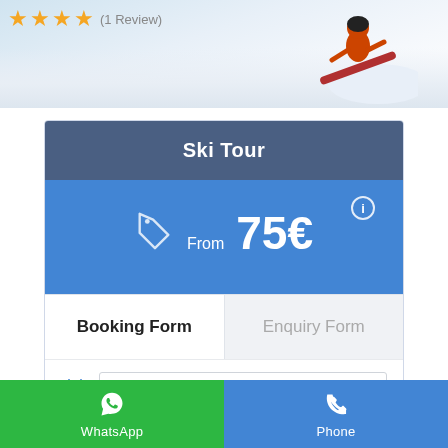[Figure (photo): Hero banner showing snowboarder on snowy mountain slope with star rating overlay]
★★★★ (1 Review)
Ski Tour
From 75€
Booking Form
Enquiry Form
WhatsApp
Phone